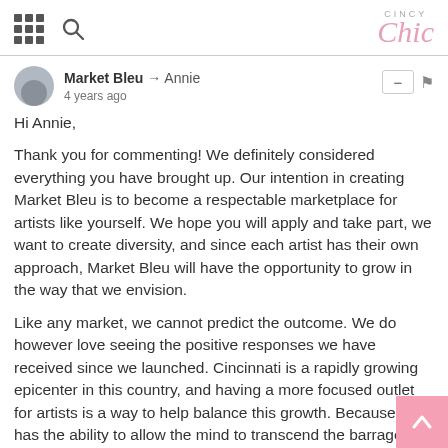Cincy Chic
Market Bleu → Annie
4 years ago
Hi Annie,

Thank you for commenting! We definitely considered everything you have brought up. Our intention in creating Market Bleu is to become a respectable marketplace for artists like yourself. We hope you will apply and take part, we want to create diversity, and since each artist has their own approach, Market Bleu will have the opportunity to grow in the way that we envision.

Like any market, we cannot predict the outcome. We do however love seeing the positive responses we have received since we launched. Cincinnati is a rapidly growing epicenter in this country, and having a more focused outlet for artists is a way to help balance this growth. Because art has the ability to allow the mind to transcend the barrage of media, and other distractions